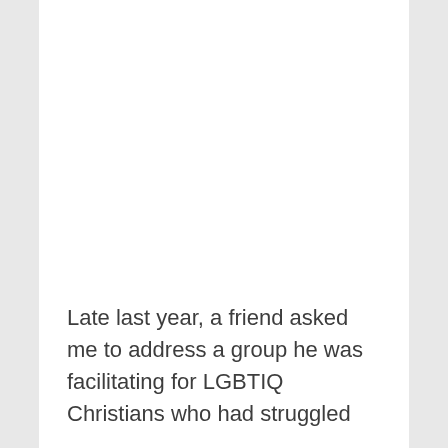Late last year, a friend asked me to address a group he was facilitating for LGBTIQ Christians who had struggled